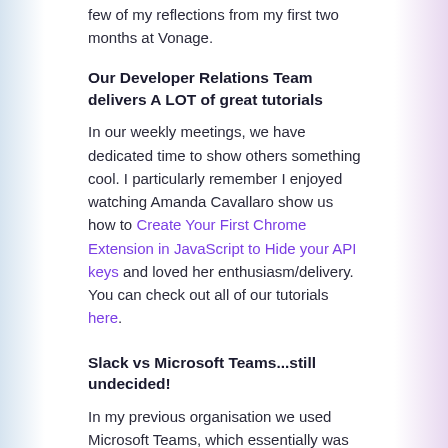few of my reflections from my first two months at Vonage.
Our Developer Relations Team delivers A LOT of great tutorials
In our weekly meetings, we have dedicated time to show others something cool. I particularly remember I enjoyed watching Amanda Cavallaro show us how to Create Your First Chrome Extension in JavaScript to Hide your API keys and loved her enthusiasm/delivery. You can check out all of our tutorials here.
Slack vs Microsoft Teams...still undecided!
In my previous organisation we used Microsoft Teams, which essentially was my safety blanket throughout